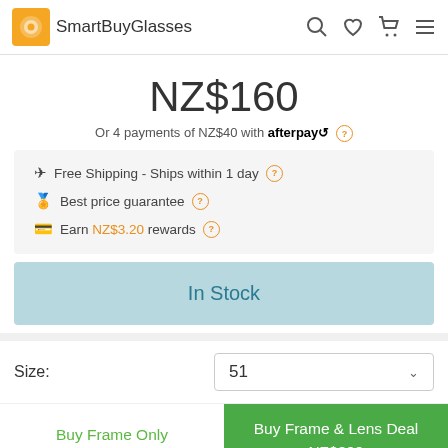SmartBuyGlasses
NZ$160
Or 4 payments of NZ$40 with afterpay
Free Shipping - Ships within 1 day
Best price guarantee
Earn NZ$3.20 rewards
In Stock
Size: 51
Buy Frame Only
Buy Frame & Lens Deal NZ$209